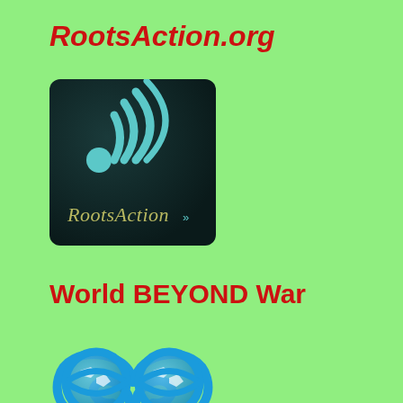RootsAction.org
[Figure (logo): RootsAction logo: dark background with teal wifi/broadcast signal icon and 'RootsAction' text in olive/gold italic font]
World BEYOND War
[Figure (logo): World BEYOND War logo: infinity symbol made of two blue globes/earth images]